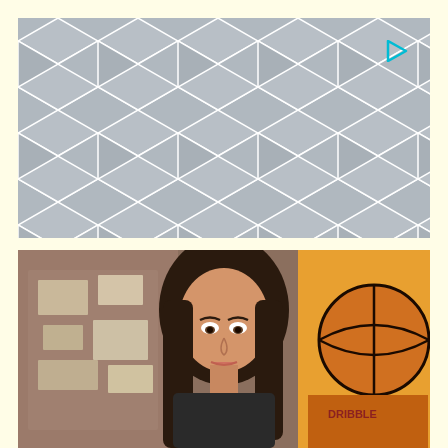[Figure (photo): Gray geometric cube/hexagonal tile pattern background image with white grout lines forming a 3D cube illusion pattern. A small cyan/blue play button triangle icon is visible in the top-right corner of the image.]
[Figure (photo): Partial screenshot of a video still showing a woman with long dark hair looking slightly upward, with a bulletin board on the left and an orange basketball-themed artwork on the right in the background.]